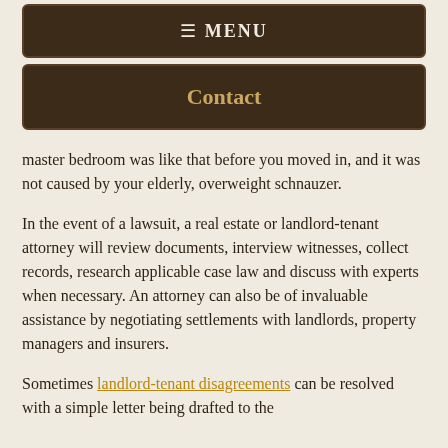≡ MENU
Contact
master bedroom was like that before you moved in, and it was not caused by your elderly, overweight schnauzer.
In the event of a lawsuit, a real estate or landlord-tenant attorney will review documents, interview witnesses, collect records, research applicable case law and discuss with experts when necessary. An attorney can also be of invaluable assistance by negotiating settlements with landlords, property managers and insurers.
Sometimes landlord-tenant disagreements can be resolved with a simple letter being drafted to the